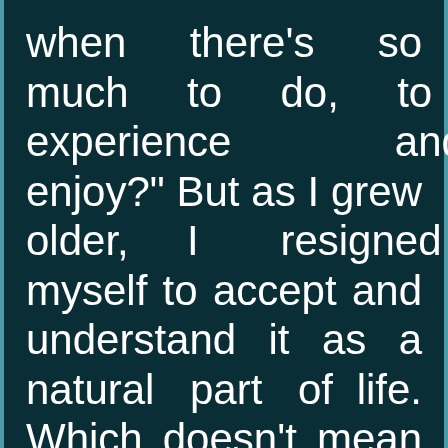when there's so much to do, to experience and enjoy?" But as I grew older, I resigned myself to accept and understand it as a natural part of life. Which doesn't mean I'm always happy